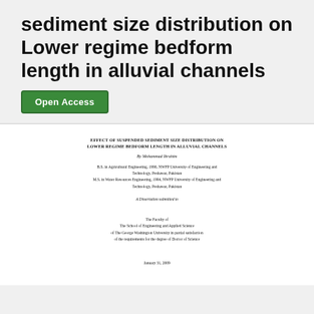sediment size distribution on Lower regime bedform length in alluvial channels
Open Access
[Figure (other): Scanned title page of a dissertation: EFFECT OF SUSPENDED SEDIMENT SIZE DISTRIBUTION ON LOWER REGIME BEDFORM LENGTH IN ALLUVIAL CHANNELS by Mohammad Ibrahim. Credentials, submission statement, faculty, and date January 31, 2009.]